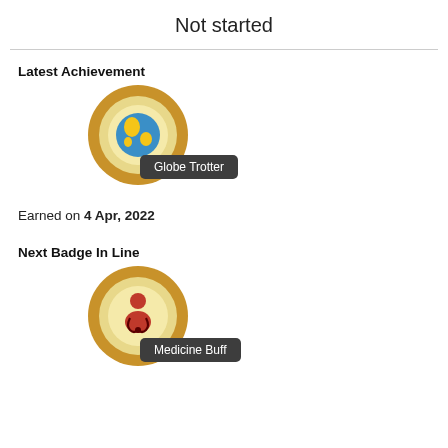Not started
Latest Achievement
[Figure (illustration): Globe Trotter badge: gold circular badge with globe icon (blue with yellow continents), labeled 'Globe Trotter']
Earned on 4 Apr, 2022
Next Badge In Line
[Figure (illustration): Medicine Buff badge: gold circular badge with red doctor/stethoscope icon, labeled 'Medicine Buff']